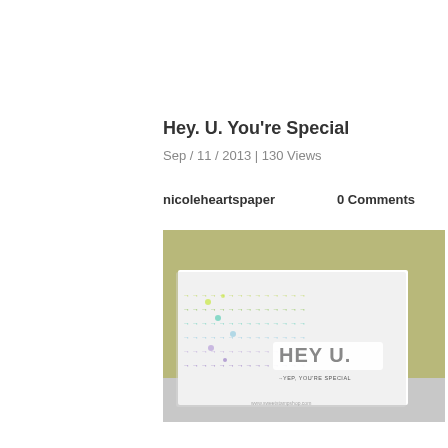Hey. U. You're Special
Sep / 11 / 2013 | 130 Views
nicoleheartspaper
0 Comments
[Figure (photo): A handmade greeting card photographed on a gray table against an olive/yellow-green wall. The white card features horizontal rows of colorful arrow stamps in yellow-green, teal, light blue, and purple. Large dimensional letters spell 'HEY U.' with smaller text below reading 'YEP, YOU'RE SPECIAL'. A watermark at the bottom reads 'www.sweetstampshop.com'.]